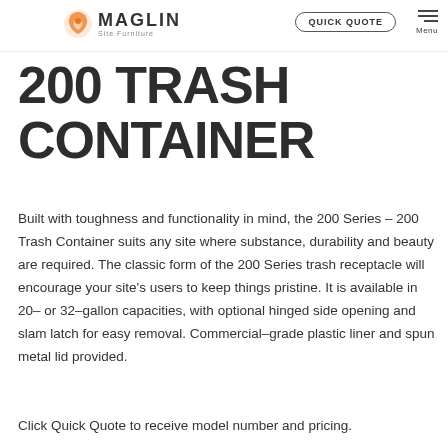MAGLIN Site Furniture | QUICK QUOTE | Menu
200 TRASH CONTAINER
Built with toughness and functionality in mind, the 200 Series – 200 Trash Container suits any site where substance, durability and beauty are required. The classic form of the 200 Series trash receptacle will encourage your site's users to keep things pristine. It is available in 20– or 32–gallon capacities, with optional hinged side opening and slam latch for easy removal. Commercial–grade plastic liner and spun metal lid provided.
Click Quick Quote to receive model number and pricing.